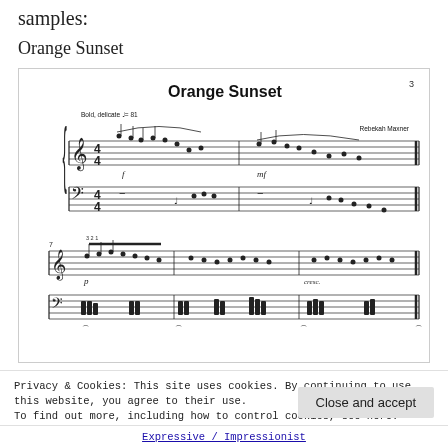samples:
Orange Sunset
[Figure (illustration): Sheet music for 'Orange Sunset' by Rebekah Maxner. Shows two systems of piano music with treble and bass clef staves. Tempo marking: Bold, delicate ♩= 81. Contains musical notation with notes, dynamics (f, mf, p, cresc.), slurs, and fingering numbers.]
Privacy & Cookies: This site uses cookies. By continuing to use this website, you agree to their use.
To find out more, including how to control cookies, see here: Cookie Policy
Close and accept
Expressive / Impressionist